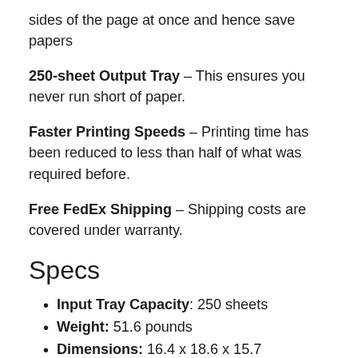sides of the page at once and hence save papers
250-sheet Output Tray – This ensures you never run short of paper.
Faster Printing Speeds – Printing time has been reduced to less than half of what was required before.
Free FedEx Shipping – Shipping costs are covered under warranty.
Specs
Input Tray Capacity: 250 sheets
Weight: 51.6 pounds
Dimensions: 16.4 x 18.6 x 15.7